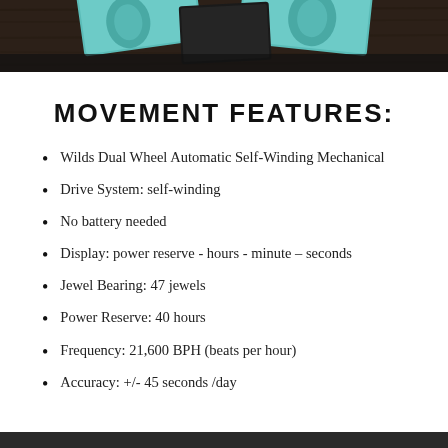[Figure (photo): Photo of watch boxes with teal/turquoise decorative pattern and dark wooden surface background]
MOVEMENT FEATURES:
Wilds Dual Wheel Automatic Self-Winding Mechanical
Drive System: self-winding
No battery needed
Display: power reserve - hours - minute – seconds
Jewel Bearing: 47 jewels
Power Reserve: 40 hours
Frequency: 21,600 BPH (beats per hour)
Accuracy: +/- 45 seconds /day